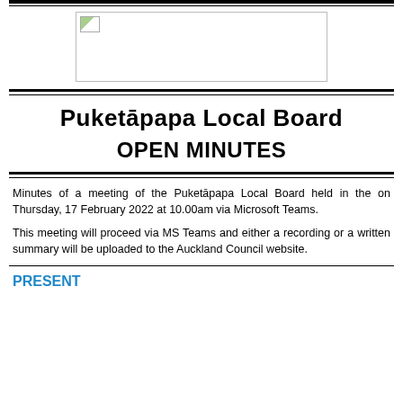[Figure (logo): Auckland Council / Puketapapa Local Board logo placeholder image in a bordered box]
Puketāpapa Local Board
OPEN MINUTES
Minutes of a meeting of the Puketāpapa Local Board held in the on Thursday, 17 February 2022 at 10.00am via Microsoft Teams.
This meeting will proceed via MS Teams and either a recording or a written summary will be uploaded to the Auckland Council website.
PRESENT